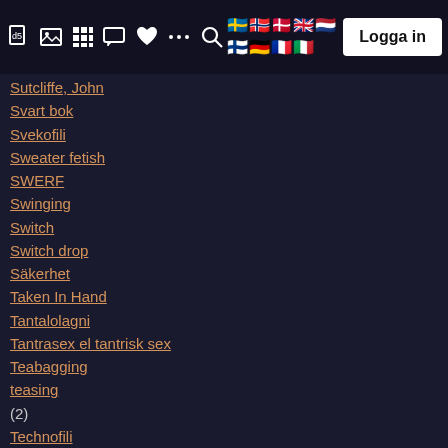Navigation bar with icons and Logga in button
Sutcliffe, John
Svart bok
Svekofili
Sweater fetish
SWERF
Swinging
Switch
Switch drop
Säkerhet
Taken In Hand
Tantalolagni
Tantrasex el tantrisk sex
Teabagging
teasing (2)
Technofili
Telefon scatalogia
Telefonikofili
TENS (5)
TERF
Tête-à-tête
Teutofili (2)
TFP